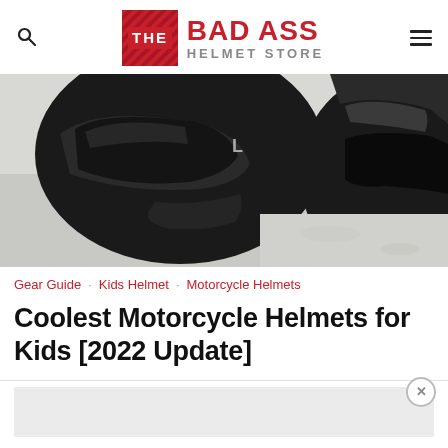THE BAD ASS HELMET STORE
[Figure (photo): Close-up photograph of two black motorcycle helmets placed on a light-colored rough surface, showing the chin/visor area of the helmets]
Gear Guide  Kids Helmet  Motorcycle Helmets
Coolest Motorcycle Helmets for Kids [2022 Update]
[Figure (other): Gray advertisement placeholder area at the bottom of the page with a close (X) button]